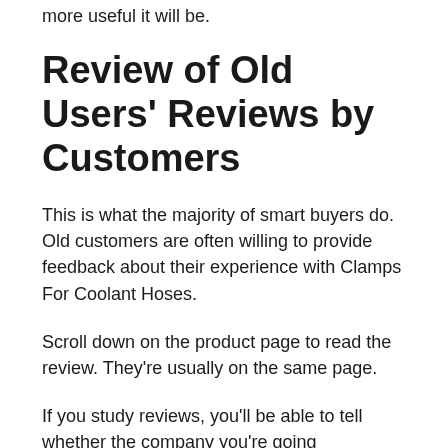more useful it will be.
Review of Old Users' Reviews by Customers
This is what the majority of smart buyers do. Old customers are often willing to provide feedback about their experience with Clamps For Coolant Hoses.
Scroll down on the product page to read the review. They're usually on the same page.
If you study reviews, you'll be able to tell whether the company you're going